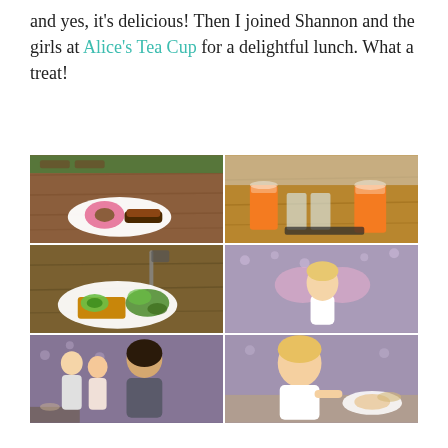and yes, it's delicious! Then I joined Shannon and the girls at Alice's Tea Cup for a delightful lunch. What a treat!
[Figure (photo): Six-photo grid showing food and people at Alice's Tea Cup: top-left donut and eclair on plate at wooden table, top-right orange takeaway cups on wooden table, middle-left avocado toast with salad, middle-right toddler in fairy wings, bottom-left three girls/women posing, bottom-right toddler eating at table.]